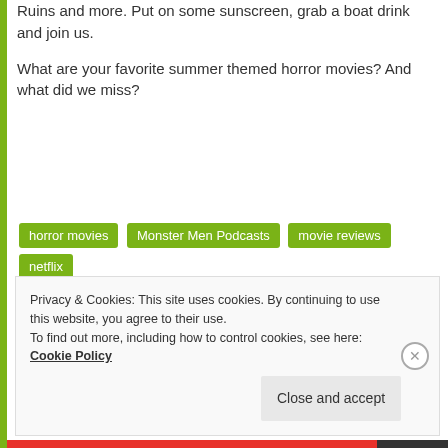Ruins and more. Put on some sunscreen, grab a boat drink and join us.
What are your favorite summer themed horror movies? And what did we miss?
horror movies
Monster Men Podcasts
movie reviews
netflix
sharks
slashers
summer
tv
Uncategorized
funny
horror
horror movie reviews
horror movies
monster movies
movies
netflix
podcast
shark movies
slasher films
Privacy & Cookies: This site uses cookies. By continuing to use this website, you agree to their use. To find out more, including how to control cookies, see here: Cookie Policy